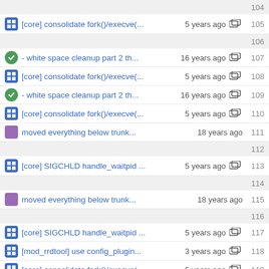104 (empty)
[core] consolidate fork()/execve(... 5 years ago  105
106 (empty)
- white space cleanup part 2 th... 16 years ago  107
[core] consolidate fork()/execve(... 5 years ago  108
- white space cleanup part 2 th... 16 years ago  109
[core] consolidate fork()/execve(... 5 years ago  110
moved everything below trunk... 18 years ago  111
112 (empty)
[core] SIGCHLD handle_waitpid ... 5 years ago  113
114 (empty)
moved everything below trunk... 18 years ago  115
116 (empty)
[core] SIGCHLD handle_waitpid ... 5 years ago  117
[mod_rrdtool] use config_plugin... 3 years ago  118
[core] consolidate fork()/execve(... 5 years ago  119
[mod_rrdtool] use config_plugin... 3 years ago  120
121 (empty)
[core] consolidate fork()/execve(... 5 years ago  122
123 (empty)
124 (empty)